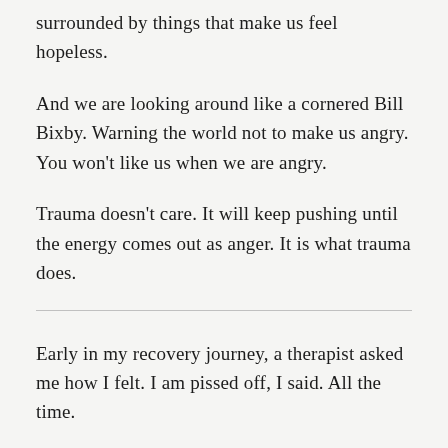surrounded by things that make us feel hopeless.
And we are looking around like a cornered Bill Bixby. Warning the world not to make us angry. You won’t like us when we are angry.
Trauma doesn’t care. It will keep pushing until the energy comes out as anger. It is what trauma does.
Early in my recovery journey, a therapist asked me how I felt. I am pissed off, I said. All the time.
No, no, she said. Anger is a masking emotion. Anger points us to what we are really feeling. It might be past hurt or guilt or fear. And feeling